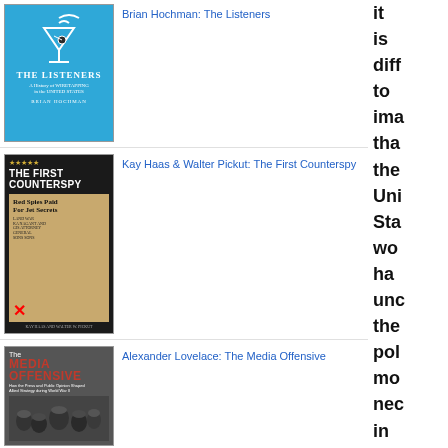[Figure (illustration): Book cover for The Listeners by Brian Hochman - blue background with martini glass icon]
Brian Hochman: The Listeners
[Figure (illustration): Book cover for The First Counterspy by Kay Haas & Walter Pickut - dark cover with newspaper clipping]
Kay Haas & Walter Pickut: The First Counterspy
[Figure (illustration): Book cover for The Media Offensive by Alexander Lovelace - dark cover with WWII soldiers photo]
Alexander Lovelace: The Media Offensive
it is diff to ima tha the Uni Sta wo ha unc the pol mo nec in the cru ear yea of the